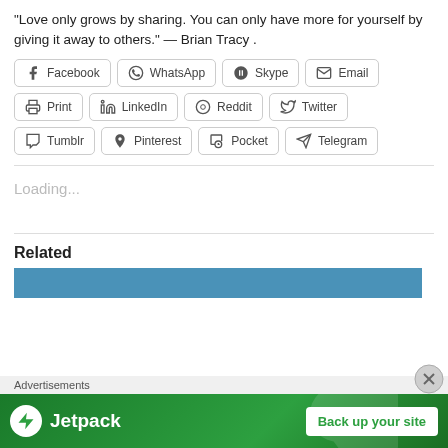“Love only grows by sharing. You can only have more for yourself by giving it away to others.” — Brian Tracy .
[Figure (other): Social share buttons: Facebook, WhatsApp, Skype, Email, Print, LinkedIn, Reddit, Twitter, Tumblr, Pinterest, Pocket, Telegram]
Loading...
Related
[Figure (illustration): Blue horizontal bar representing a related content image thumbnail]
Advertisements
[Figure (infographic): Jetpack advertisement banner with logo and 'Back up your site' button]